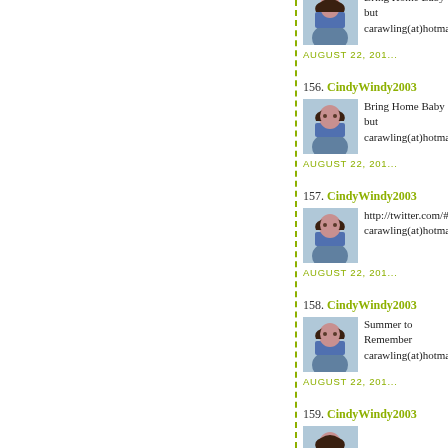156. CindyWindy2003 — Bring Home Baby but carawling(at)hotmail(c... AUGUST 22, 201...
157. CindyWindy2003 — http://twitter.com/#!/ca carawling(at)hotmail(c... AUGUST 22, 201...
158. CindyWindy2003 — Summer to Remember carawling(at)hotmail(c... AUGUST 22, 201...
159. CindyWindy2003...